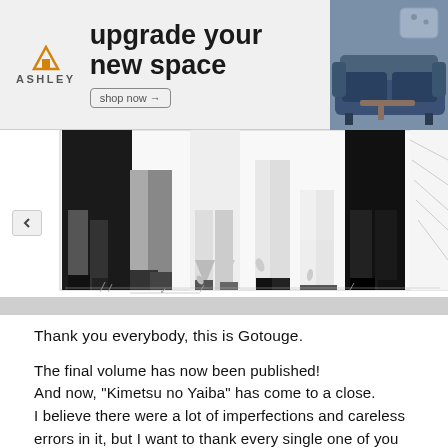[Figure (screenshot): Ashley Furniture advertisement banner showing logo, 'upgrade your new space' headline, 'shop now' button, and a blue sofa image]
[Figure (illustration): Black and white manga panel showing the lower bodies/legs of several characters standing together, in Demon Slayer (Kimetsu no Yaiba) art style]
Thank you everybody, this is Gotouge.
The final volume has now been published!
And now, "Kimetsu no Yaiba" has come to a close.
I believe there were a lot of imperfections and careless errors in it, but I want to thank every single one of you who read this to the very end and sent me letters of support from the bottom of my heart.
This author also strives to become a wonderful person